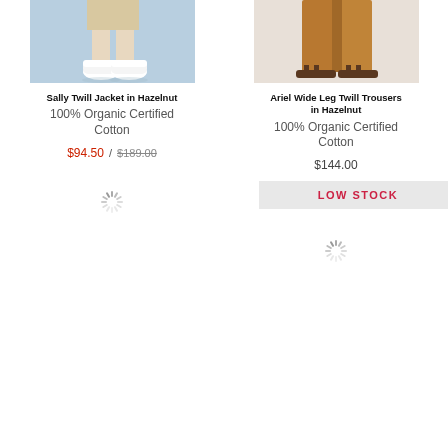[Figure (photo): Bottom half of person wearing white sneakers on blue background - Sally Twill Jacket product image]
[Figure (photo): Bottom half of person wearing wide leg brown/hazelnut trousers and sandals - Ariel Wide Leg Twill Trousers product image]
Sally Twill Jacket in Hazelnut
100% Organic Certified Cotton
$94.50 / $189.00
Ariel Wide Leg Twill Trousers in Hazelnut
100% Organic Certified Cotton
$144.00
LOW STOCK
[Figure (other): Loading spinner]
[Figure (other): Loading spinner]